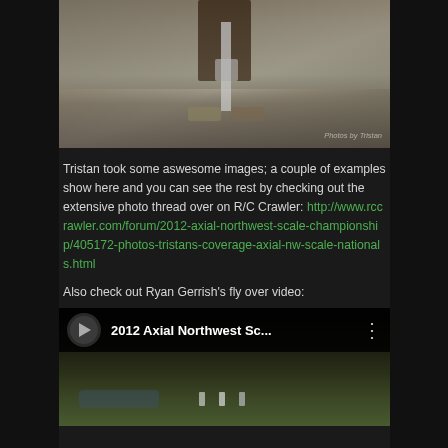[Figure (photo): Outdoor photo showing person's legs and feet standing on rocky terrain with a shovel, with watermark text visible in lower right]
Tristan took some aswesome images; a couple of examples show here and you can see the rest by checking out the extensive photo thread over on R/C Crawler: http://www.rccrawler.com/forum/2012-axial-northwest-scale-championship/405172-photos-tristans-coverage-axial-nw-scale-nationals.html
Also check out Ryan Gerrish's fly over video:
[Figure (screenshot): YouTube video thumbnail for '2012 Axial Northwest Sc...' showing aerial view of rocky terrain with people and RC crawlers]